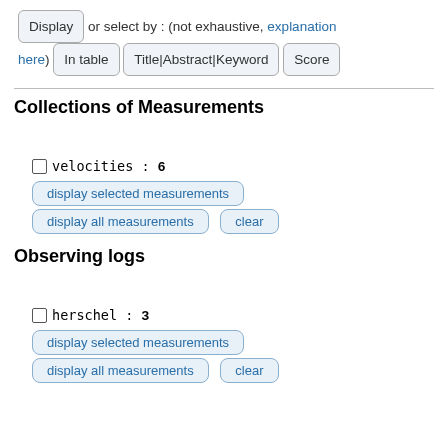Display or select by : (not exhaustive, explanation here) In table | Title|Abstract|Keyword | Score
Collections of Measurements
velocities : 6
display selected measurements
display all measurements   clear
Observing logs
herschel : 3
display selected measurements
display all measurements   clear